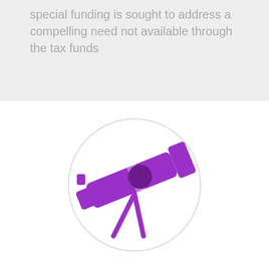special funding is sought to address a compelling need not available through the tax funds
[Figure (illustration): Purple telescope icon on a white circle background, tilted at an angle with a tripod stand visible at the bottom]